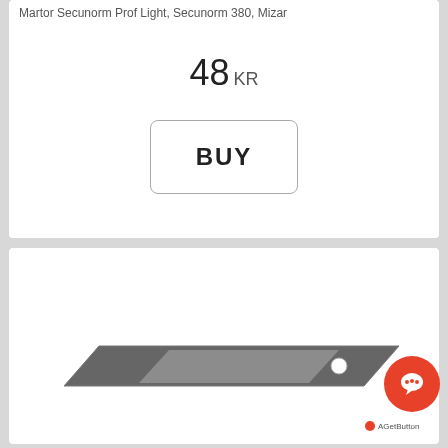Martor Secunorm Prof Light, Secunorm 380, Mizar
48 KR
BUY
[Figure (photo): A silver utility knife blade / box cutter blade, parallelogram-shaped with a small circular hole near the right end, shown on a white background.]
AGetButton